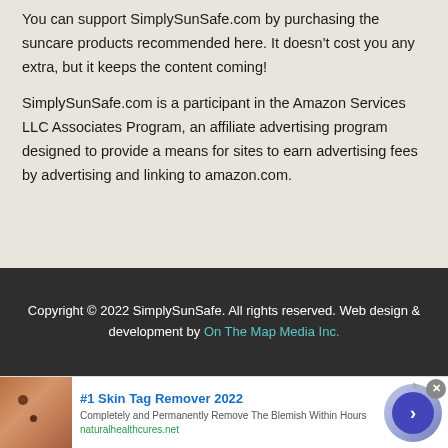You can support SimplySunSafe.com by purchasing the suncare products recommended here. It doesn't cost you any extra, but it keeps the content coming!
SimplySunSafe.com is a participant in the Amazon Services LLC Associates Program, an affiliate advertising program designed to provide a means for sites to earn advertising fees by advertising and linking to amazon.com.
Copyright © 2022 SimplySunSafe. All rights reserved. Web design & development by On The Map Media Inc.
[Figure (infographic): Advertisement banner: #1 Skin Tag Remover 2022 - Completely and Permanently Remove The Blemish Within Hours - naturalhealthcures.net with image of skin and circular arrow button]